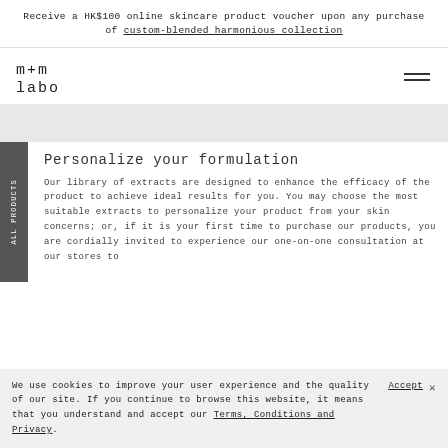Receive a HK$100 online skincare product voucher upon any purchase of custom-blended harmonious collection
[Figure (logo): m+m labo logo in monospace/geometric style]
Personalize your formulation
Our library of extracts are designed to enhance the efficacy of the product to achieve ideal results for you. You may choose the most suitable extracts to personalize your product from your skin concerns; or, if it is your first time to purchase our products, you are cordially invited to experience our one-on-one consultation at our stores to
We use cookies to improve your user experience and the quality of our site. If you continue to browse this website, it means that you understand and accept our Terms, Conditions and Privacy.